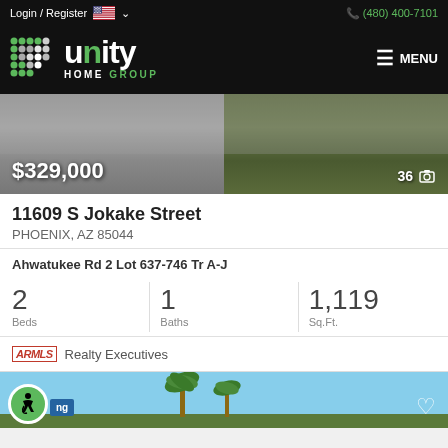Login / Register  (480) 400-7101
[Figure (logo): Unity Home Group logo with green dot pattern and white/green text on black background, with MENU button]
[Figure (photo): Property photo showing concrete driveway on left and dry grass on right]
$329,000
36 photos
11609 S Jokake Street
PHOENIX, AZ 85044
Ahwatukee Rd 2 Lot 637-746 Tr A-J
2 Beds  1 Baths  1,119 Sq.Ft.
ARMLS  Realty Executives
[Figure (photo): Bottom strip showing blue sky with palm trees, accessibility icon, and heart icon]